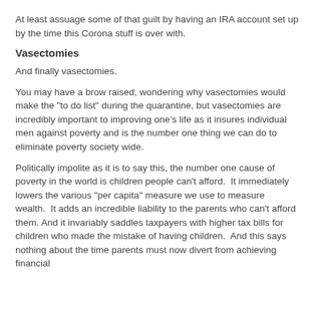At least assuage some of that guilt by having an IRA account set up by the time this Corona stuff is over with.
Vasectomies
And finally vasectomies.
You may have a brow raised, wondering why vasectomies would make the "to do list" during the quarantine, but vasectomies are incredibly important to improving one's life as it insures individual men against poverty and is the number one thing we can do to eliminate poverty society wide.
Politically impolite as it is to say this, the number one cause of poverty in the world is children people can't afford.  It immediately lowers the various "per capita" measure we use to measure wealth.  It adds an incredible liability to the parents who can't afford them. And it invariably saddles taxpayers with higher tax bills for children who made the mistake of having children.  And this says nothing about the time parents must now divert from achieving financial